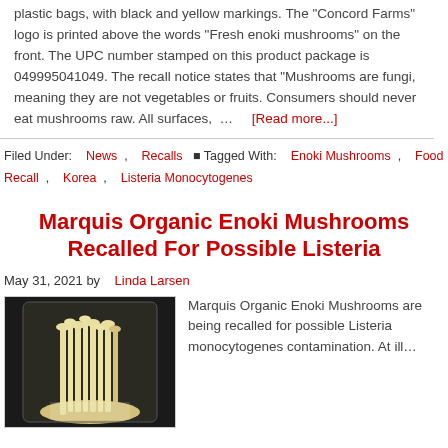plastic bags, with black and yellow markings. The "Concord Farms" logo is printed above the words "Fresh enoki mushrooms" on the front. The UPC number stamped on this product package is 049995041049. The recall notice states that "Mushrooms are fungi, meaning they are not vegetables or fruits. Consumers should never eat mushrooms raw. All surfaces, … [Read more...]
Filed Under: News , Recalls • Tagged With: Enoki Mushrooms , Food Recall , Korea , Listeria Monocytogenes
Marquis Organic Enoki Mushrooms Recalled For Possible Listeria
May 31, 2021 by Linda Larsen
[Figure (photo): Photo of Marquis Organic Enoki Mushrooms package in plastic bag]
Marquis Organic Enoki Mushrooms are being recalled for possible Listeria monocytogenes contamination. At ill…